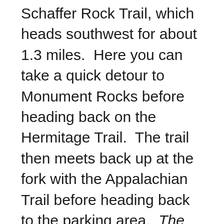Schaffer Rock Trail, which heads southwest for about 1.3 miles.  Here you can take a quick detour to Monument Rocks before heading back on the Hermitage Trail.  The trail then meets back up at the fork with the Appalachian Trail before heading back to the parking area.  The trailhead for the Chimney Rocks trail begins at the Old Forge Picnic Grounds on Old Forge Road, about 5 miles north of Rouzerville.  You can also hike from Swift Rock Road on the Shaffer Trail